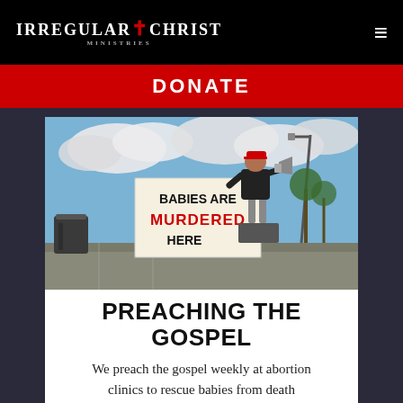IRREGULAR FOR CHRIST MINISTRIES
DONATE
[Figure (photo): A person standing on a platform holding a megaphone next to a large sign reading 'BABIES ARE MURDERED HERE' with a parking lot and cloudy sky in the background.]
PREACHING THE GOSPEL
We preach the gospel weekly at abortion clinics to rescue babies from death